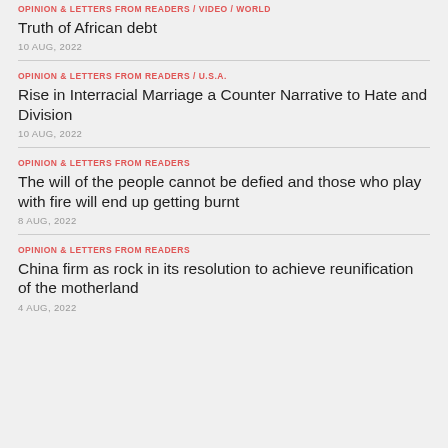OPINION & LETTERS FROM READERS / VIDEO / WORLD — Truth of African debt — 10 AUG, 2022
OPINION & LETTERS FROM READERS / U.S.A. — Rise in Interracial Marriage a Counter Narrative to Hate and Division — 10 AUG, 2022
OPINION & LETTERS FROM READERS — The will of the people cannot be defied and those who play with fire will end up getting burnt — 8 AUG, 2022
OPINION & LETTERS FROM READERS — China firm as rock in its resolution to achieve reunification of the motherland — 4 AUG, 2022